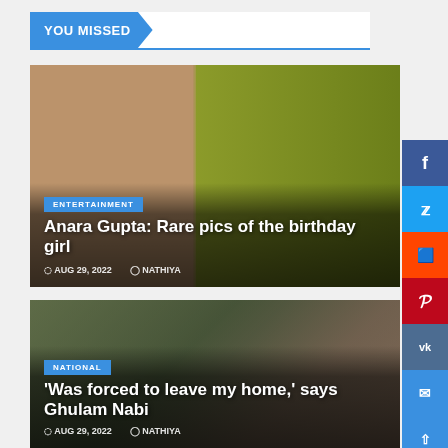YOU MISSED
[Figure (photo): Entertainment article card with photo of Anara Gupta, category badge ENTERTAINMENT, title 'Anara Gupta: Rare pics of the birthday girl', date AUG 29, 2022, author NATHIYA]
Anara Gupta: Rare pics of the birthday girl
AUG 29, 2022   NATHIYA
[Figure (photo): National article card with photo of Ghulam Nabi surrounded by people, category badge NATIONAL, title 'Was forced to leave my home,' says Ghulam Nabi, author NATHIYA]
'Was forced to leave my home,' says Ghulam Nabi
AUG 29, 2022   NATHIYA